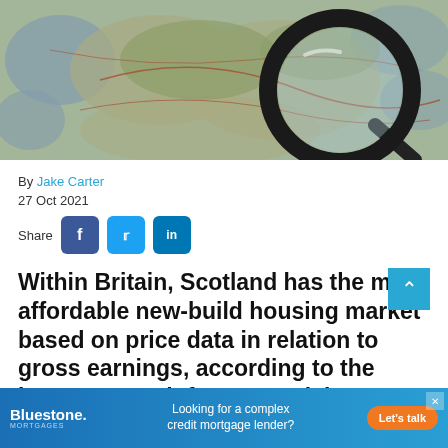[Figure (photo): A magnifying glass placed on top of a detailed topographic/road map of Scotland and northern Britain, showing geographical features, towns, and routes in green, tan, and red.]
By Jake Carter
27 Oct 2021
Share
Within Britain, Scotland has the most affordable new-build housing market based on price data in relation to gross earnings, according to the latest research from Warwick Estates.
[Figure (other): Bluestone Mortgages advertisement banner: 'Looking for a complex credit mortgage lender? Let's talk']